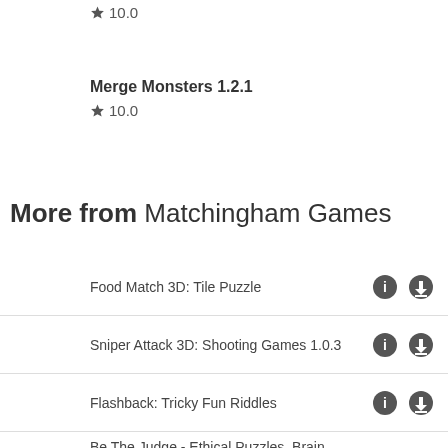★ 10.0
Merge Monsters 1.2.1
★ 10.0
More from Matchingham Games
Food Match 3D: Tile Puzzle
Sniper Attack 3D: Shooting Games 1.0.3
Flashback: Tricky Fun Riddles
Be The Judge - Ethical Puzzles, Brain Games Test 1.4.0